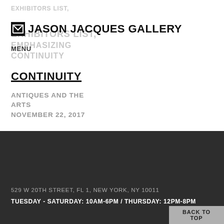JASON JACQUES GALLERY
MENU
CONTINUITY
ANTIQUES AND THE ARTS
NOVEMBER 22, 2017
529 W 20TH STREET, FL 1, NEW YORK, NY 10011
TUESDAY - SATURDAY: 10AM-6PM / THURSDAY: 12PM-8PM
BACK TO TOP